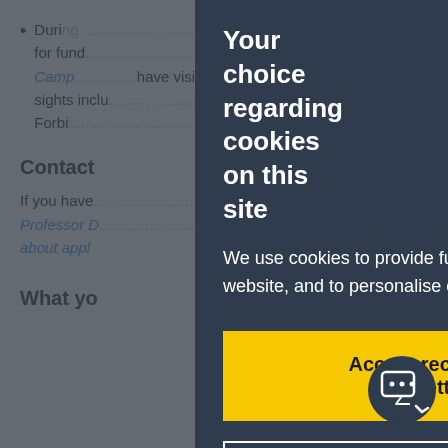During ... ply for fund ... Winter Camp ... have visite ... ral sights inclu ... e Forbi ... River.
Contact
If you have ... contact Professor ... formation about appl ...
What yo
[Figure (screenshot): Cookie consent modal dialog with dark blue-grey background. Title: 'Your choice regarding cookies on this site'. Body text: 'We use cookies to provide functionality, understand how people use our website, and to personalise content on and off gold.ac.uk.' Two buttons: yellow 'Accept recommended settings' and outlined 'Review cookie settings'.]
Your choice regarding cookies on this site
We use cookies to provide functionality, understand how people use our website, and to personalise content on and off gold.ac.uk.
Accept recommended settings
Review cookie settings